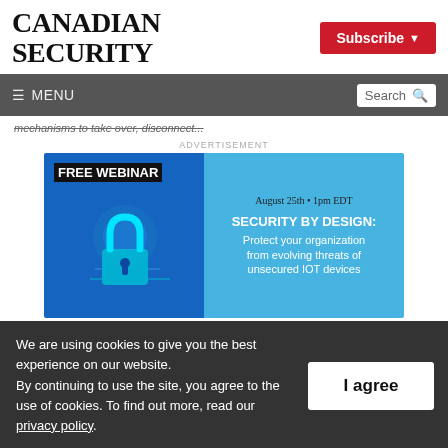CANADIAN SECURITY
Subscribe
MENU | Search
mechanisms to take over, disconnect...
ADVERTISEMENT
[Figure (infographic): FREE WEBINAR advertisement banner. Left side dark blue with lock/padlock graphic. Right side light blue with text: August 25th • 1pm EDT — SECURITY BY DESIGN: Protect your organization from evolving threats of unsecured IOT devices]
We are using cookies to give you the best experience on our website.
By continuing to use the site, you agree to the use of cookies. To find out more, read our privacy policy.
I agree